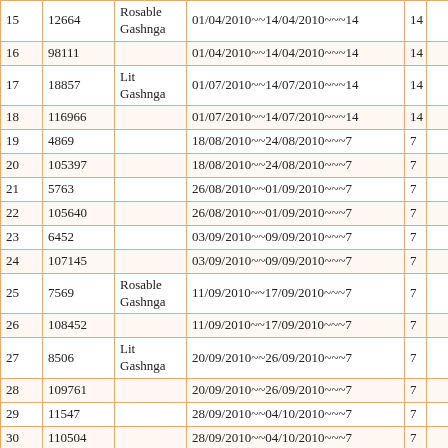| # | ID | Name | Date Range | Col5 | Col6 |
| --- | --- | --- | --- | --- | --- |
| 15 | 12664 | Rosable Gashnga | 01/04/2010~~14/04/2010~~~14 | 14 |  |
| 16 | 98111 |  | 01/04/2010~~14/04/2010~~~14 | 14 |  |
| 17 | 18857 | Lit Gashnga | 01/07/2010~~14/07/2010~~~14 | 14 |  |
| 18 | 116966 |  | 01/07/2010~~14/07/2010~~~14 | 14 |  |
| 19 | 4869 |  | 18/08/2010~~24/08/2010~~~7 | 7 |  |
| 20 | 105397 |  | 18/08/2010~~24/08/2010~~~7 | 7 |  |
| 21 | 5763 |  | 26/08/2010~~01/09/2010~~~7 | 7 |  |
| 22 | 105640 |  | 26/08/2010~~01/09/2010~~~7 | 7 |  |
| 23 | 6452 |  | 03/09/2010~~09/09/2010~~~7 | 7 |  |
| 24 | 107145 |  | 03/09/2010~~09/09/2010~~~7 | 7 |  |
| 25 | 7569 | Rosable Gashnga | 11/09/2010~~17/09/2010~~~7 | 7 |  |
| 26 | 108452 |  | 11/09/2010~~17/09/2010~~~7 | 7 |  |
| 27 | 8506 | Lit Gashnga | 20/09/2010~~26/09/2010~~~7 | 7 |  |
| 28 | 109761 |  | 20/09/2010~~26/09/2010~~~7 | 7 |  |
| 29 | 11547 |  | 28/09/2010~~04/10/2010~~~7 | 7 |  |
| 30 | 110504 |  | 28/09/2010~~04/10/2010~~~7 | 7 |  |
| 31 | 14732 |  | 06/10/2010~~12/10/2010~~~7 | 7 |  |
| 32 | 112894 |  | 06/10/2010~~12/10/2010~~~7 | 7 |  |
| 33 | 16471 |  | 14/10/2010~~27/10/2010~~~14 | 14 |  |
| 34 | 115085 |  | 14/10/2010~~27/10/2010~~~14 | 14 |  |
| 35 | 24926 |  | 08/11/2010~~14/11/2010~~~7 | 7 |  |
| 36 | 7753 |  | 01/04/2011~~07/04/2011~~~7 | 7 |  |